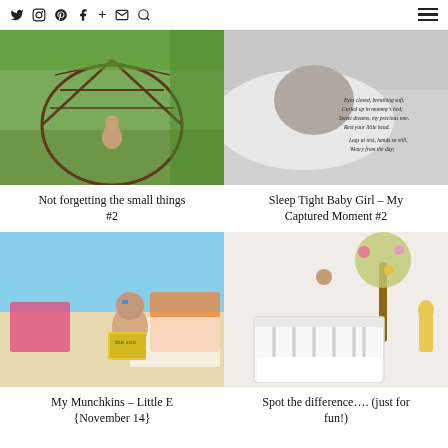Twitter Instagram Pinterest Facebook + Email Search | Menu
[Figure (photo): Child sitting inside a large woven twig dome structure in a garden]
[Figure (photo): Black and white photo of a sleeping baby girl with a poem overlay]
Not forgetting the small things #2
Sleep Tight Baby Girl – My Captured Moment #2
[Figure (photo): Toddler reading a zoo book at what appears to be a beach setting]
[Figure (photo): Baby crib in a nursery room decorated with colorful animal wall stickers]
My Munchkins – Little E {November 14}
Spot the difference…. (just for fun!)